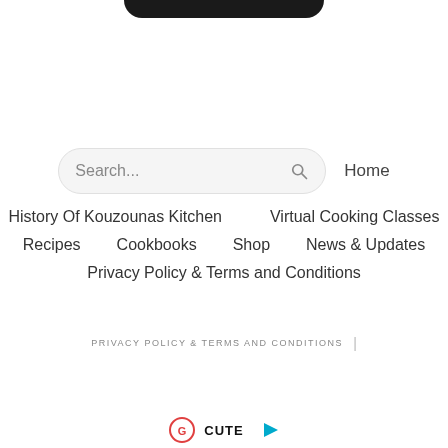[Figure (other): Black rounded rectangle bar partially visible at top of page (mobile UI element)]
[Figure (other): Search input box with placeholder text 'Search...' and a search/magnifying glass icon]
Home
History Of Kouzounas Kitchen
Virtual Cooking Classes
Recipes
Cookbooks
Shop
News & Updates
Privacy Policy & Terms and Conditions
PRIVACY POLICY & TERMS AND CONDITIONS  |
[Figure (logo): Partial logos visible at bottom of page]